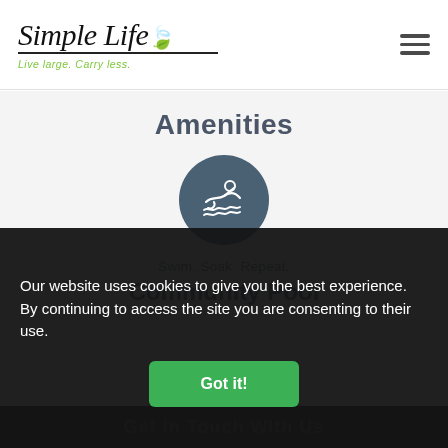[Figure (logo): Simple Life logo with cursive text, green leaf icon, underline, and tagline 'Live large. Carry less.']
[Figure (illustration): Hamburger menu icon (three horizontal bars)]
Amenities
[Figure (illustration): Dark teal circular icon with a swimming person icon inside]
Swim. Soak. Repeat.
Community Pool
Classic walk-in swimming pool with sun lovers' deck,
Our website uses cookies to give you the best experience. By continuing to access the site you are consenting to their use.
Got it!
Get in Touch With Us